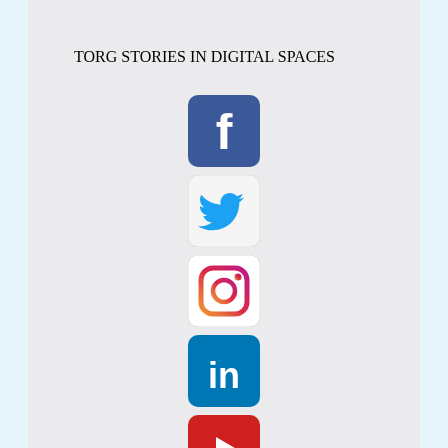TORG STORIES IN DIGITAL SPACES
[Figure (logo): Facebook logo icon - blue rounded square with white lowercase f]
[Figure (logo): Twitter logo icon - white rounded square with blue bird]
[Figure (logo): Instagram logo icon - white rounded square with gradient camera icon]
[Figure (logo): LinkedIn logo icon - blue rounded square with white 'in' text]
[Figure (logo): YouTube logo icon - red rounded square with white play button]